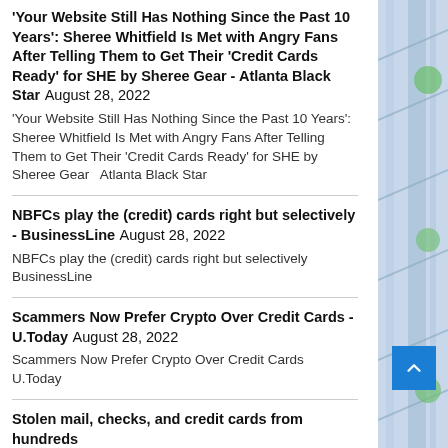'Your Website Still Has Nothing Since the Past 10 Years': Sheree Whitfield Is Met with Angry Fans After Telling Them to Get Their 'Credit Cards Ready' for SHE by Sheree Gear - Atlanta Black Star August 28, 2022
'Your Website Still Has Nothing Since the Past 10 Years': Sheree Whitfield Is Met with Angry Fans After Telling Them to Get Their 'Credit Cards Ready' for SHE by Sheree Gear  Atlanta Black Star
NBFCs play the (credit) cards right but selectively - BusinessLine August 28, 2022
NBFCs play the (credit) cards right but selectively  BusinessLine
Scammers Now Prefer Crypto Over Credit Cards - U.Today August 28, 2022
Scammers Now Prefer Crypto Over Credit Cards  U.Today
Stolen mail, checks, and credit cards from hundreds...